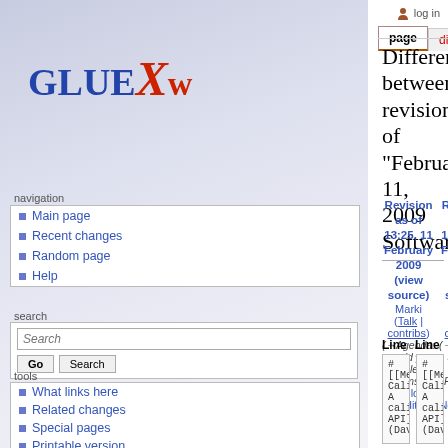log in
page | discussion | view source | history
[Figure (logo): GlueX logo with stylized text in blue and red]
navigation
Main page
Recent changes
Random page
Help
search
tools
What links here
Related changes
Special pages
Printable version
Permanent link
Difference between revisions of "February 11, 2009 Software"
Revision as of 13:25, 11 February 2009 (view source)
Marki (Talk | contribs)
(→Agenda: add a couple of items)
← Older edit
Revision as of 14:12, 11 February 2009 (view source)
Marki (Talk | contribs)
(→Agenda: add link to Richard's email)
Newer edit →
Line 10:
Line 10:
#
[[Media:20090211_JCalibration.pdf|JANA calibration API]]
(David)
#
[[Media:20090211_JCalibration.pdf|JANA calibration API]]
(David)